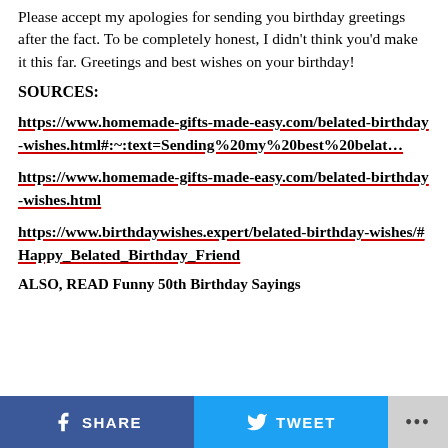Please accept my apologies for sending you birthday greetings after the fact. To be completely honest, I didn't think you'd make it this far. Greetings and best wishes on your birthday!
SOURCES:
https://www.homemade-gifts-made-easy.com/belated-birthday-wishes.html#:~:text=Sending%20my%20best%20belat…
https://www.homemade-gifts-made-easy.com/belated-birthday-wishes.html
https://www.birthdaywishes.expert/belated-birthday-wishes/#Happy_Belated_Birthday_Friend
ALSO, READ Funny 50th Birthday Sayings
SHARE   TWEET   ...